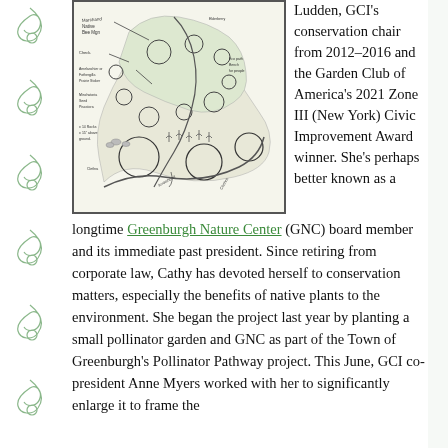[Figure (illustration): Hand-drawn garden plan sketch showing plant placement, paths, circles representing plants/trees, and handwritten annotations including 'Marchand Native Bee Mgn', 'Check', 'Amelanchier or Fothergilla Prairie Stoker', 'Minchatoria Seed Piscatora', '14 Rocks 15 above ground', 'Clethra', 'Eco path bench for people', 'Elderberry', 'Arrowhead', and other garden planting notes.]
Ludden, GCI's conservation chair from 2012–2016 and the Garden Club of America's 2021 Zone III (New York) Civic Improvement Award winner. She's perhaps better known as a longtime Greenburgh Nature Center (GNC) board member and its immediate past president. Since retiring from corporate law, Cathy has devoted herself to conservation matters, especially the benefits of native plants to the environment. She began the project last year by planting a small pollinator garden and GNC as part of the Town of Greenburgh's Pollinator Pathway project. This June, GCI co-president Anne Myers worked with her to significantly enlarge it to frame the